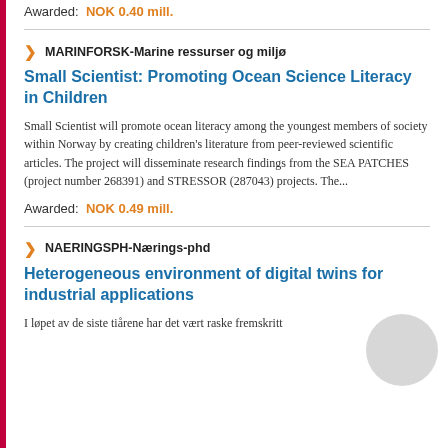Awarded: NOK 0.40 mill.
MARINFORSK-Marine ressurser og miljø
Small Scientist: Promoting Ocean Science Literacy in Children
Small Scientist will promote ocean literacy among the youngest members of society within Norway by creating children's literature from peer-reviewed scientific articles. The project will disseminate research findings from the SEA PATCHES (project number 268391) and STRESSOR (287043) projects. The...
Awarded: NOK 0.49 mill.
NAERINGSPH-Nærings-phd
Heterogeneous environment of digital twins for industrial applications
I løpet av de siste tiårene har det vært raske fremskritt